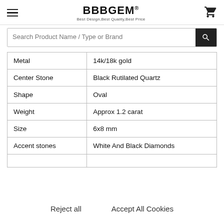BBBGEM® Best Design,Best Quality,Best Price
Search Product Name / Type or Brand
|  |  |
| --- | --- |
| Metal | 14k/18k gold |
| Center Stone | Black Rutilated Quartz |
| Shape | Oval |
| Weight | Approx 1.2 carat |
| Size | 6x8 mm |
| Accent stones | White And Black Diamonds |
Reject all    Accept All Cookies